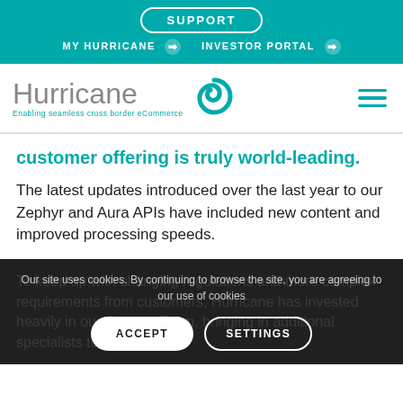SUPPORT | MY HURRICANE | INVESTOR PORTAL
[Figure (logo): Hurricane logo with spiral icon and tagline 'Enabling seamless cross border eCommerce']
customer offering is truly world-leading.
The latest updates introduced over the last year to our Zephyr and Aura APIs have included new content and improved processing speeds.
To keep up with changing regulations and more complex requirements from customers, Hurricane has invested heavily in our Content Team, bringing in additional specialists to help drive our
Our site uses cookies. By continuing to browse the site, you are agreeing to our use of cookies
ACCEPT   SETTINGS